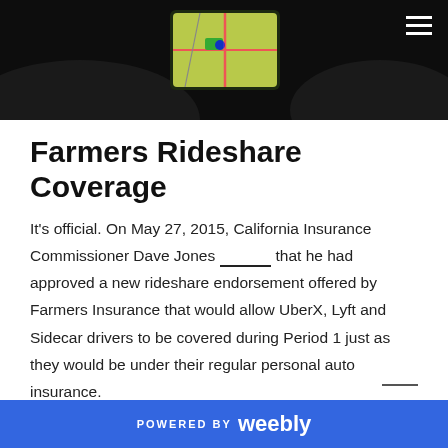[Figure (photo): Dark interior car photo showing navigation screen with map, hamburger menu icon in top right corner]
Farmers Rideshare Coverage
It's official. On May 27, 2015, California Insurance Commissioner Dave Jones __________ that he had approved a new rideshare endorsement offered by Farmers Insurance that would allow UberX, Lyft and Sidecar drivers to be covered during Period 1 just as they would be under their regular personal auto insurance.
POWERED BY weebly